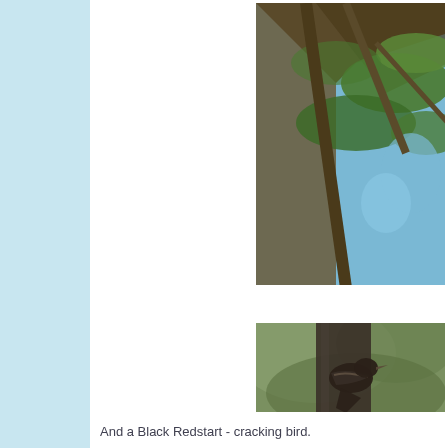[Figure (photo): Close-up photograph of tree branches with green pine needles and blue sky, viewed from below]
[Figure (photo): A bird (woodpecker or similar) clinging to a tree trunk, with blurred green foliage in the background]
And a Black Redstart - cracking bird.
[Figure (photo): Partial view of a bird photo, blurred brownish-grey background, bottom of page]